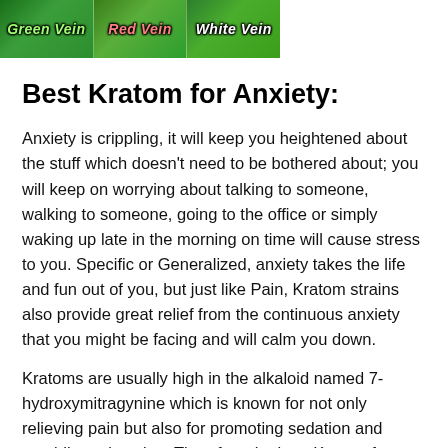[Figure (photo): Header image showing three types of kratom leaves — Green Vein, Red Vein, and White Vein — with stylized cursive text labels on each section over a green leaf background.]
Best Kratom for Anxiety:
Anxiety is crippling, it will keep you heightened about the stuff which doesn't need to be bothered about; you will keep on worrying about talking to someone, walking to someone, going to the office or simply waking up late in the morning on time will cause stress to you. Specific or Generalized, anxiety takes the life and fun out of you, but just like Pain, Kratom strains also provide great relief from the continuous anxiety that you might be facing and will calm you down.
Kratoms are usually high in the alkaloid named 7-hydroxymitragynine which is known for not only relieving pain but also for promoting sedation and providing relaxation. Therefore the best Kratom for anxiety will…